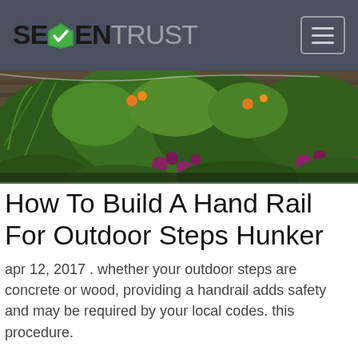SEVENTRUST
[Figure (photo): Outdoor garden photo showing green plants and colorful flowers (pink/purple and orange) on a wooden deck background]
How To Build A Hand Rail For Outdoor Steps Hunker
apr 12, 2017 . whether your outdoor steps are concrete or wood, providing a handrail adds safety and may be required by your local codes. this procedure.
How To Make A Simple Porch Handrail For Small Steps - Youtube